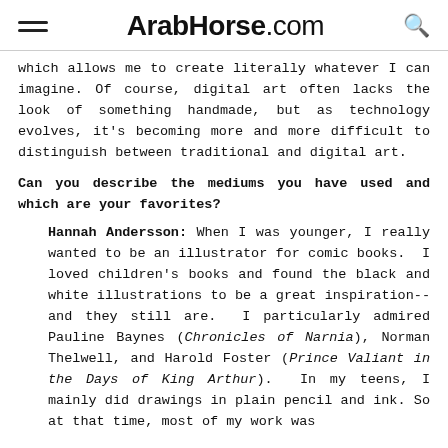ArabHorse.com
which allows me to create literally whatever I can imagine. Of course, digital art often lacks the look of something handmade, but as technology evolves, it's becoming more and more difficult to distinguish between traditional and digital art.
Can you describe the mediums you have used and which are your favorites?
Hannah Andersson: When I was younger, I really wanted to be an illustrator for comic books.  I loved children's books and found the black and white illustrations to be a great inspiration--and they still are.  I particularly admired Pauline Baynes (Chronicles of Narnia), Norman Thelwell, and Harold Foster (Prince Valiant in the Days of King Arthur).  In my teens, I mainly did drawings in plain pencil and ink. So at that time, most of my work was